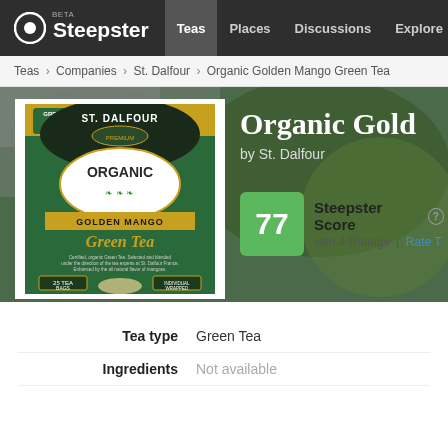Steepster BETA | Teas | Places | Discussions | Explore
Teas > Companies > St. Dalfour > Organic Golden Mango Green Tea
[Figure (screenshot): St. Dalfour Organic Golden Mango Green Tea product box, green and yellow packaging with 25 tea bags]
Organic Gold
by St. Dalfour
77 Steepster Score with 4 Ratings | Rate T
Tea type  Green Tea
Ingredients  Not available